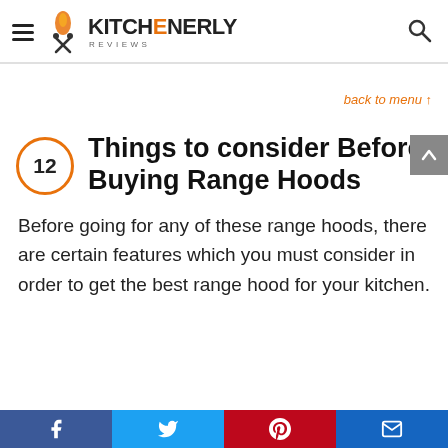Kitchenerly Reviews
back to menu ↑
12 Things to consider Before Buying Range Hoods
Before going for any of these range hoods, there are certain features which you must consider in order to get the best range hood for your kitchen.
Facebook | Twitter | Pinterest | Email